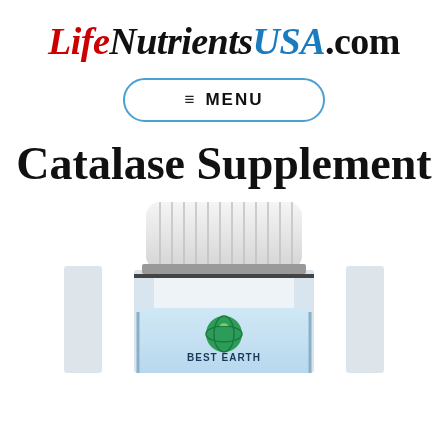LifeNutrientsUSA.com
[Figure (infographic): Navigation menu button with hamburger icon and the word MENU, styled with a rounded blue border]
Catalase Supplement
[Figure (photo): A white supplement bottle with a white cap and blue label showing 'BEST EARTH' branding, partially cropped at the bottom of the page]